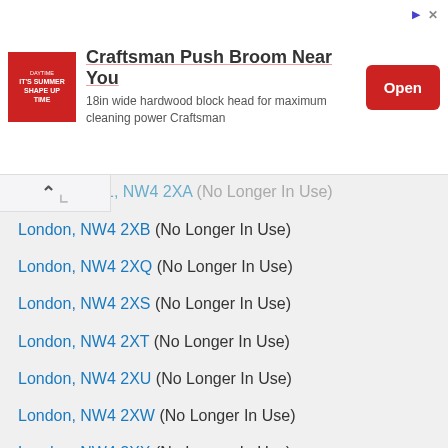[Figure (other): Advertisement banner for Craftsman Push Broom. Contains a red square logo with text 'IT'S SUMMER SHAPE UP TIME', bold ad title 'Craftsman Push Broom Near You', subtitle '18in wide hardwood block head for maximum cleaning power Craftsman', and a red 'Open' button.]
1, NW4 2XA (No Longer In Use)
London, NW4 2XB (No Longer In Use)
London, NW4 2XQ (No Longer In Use)
London, NW4 2XS (No Longer In Use)
London, NW4 2XT (No Longer In Use)
London, NW4 2XU (No Longer In Use)
London, NW4 2XW (No Longer In Use)
London, NW4 2XX (No Longer In Use)
London, NW4 2XY (No Longer In Use)
London, NW4 2XZ (No Longer In Use)
London, NW4 2YD (No Longer In Use)
London, NW4 2YE (No Longer In Use)